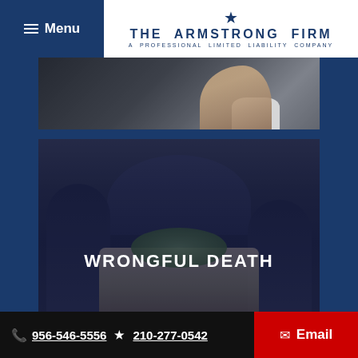Menu | THE ARMSTRONG FIRM | A PROFESSIONAL LIMITED LIABILITY COMPANY
[Figure (photo): Close-up photo of person's hand and white shirt cuff, interior of a vehicle, dark overlay]
[Figure (photo): Funeral scene showing pallbearers carrying a coffin with flowers, viewed from inside a hearse, dark blue overlay with text WRONGFUL DEATH]
WRONGFUL DEATH
📞 956-546-5556 ★ 210-277-0542  ✉ Email